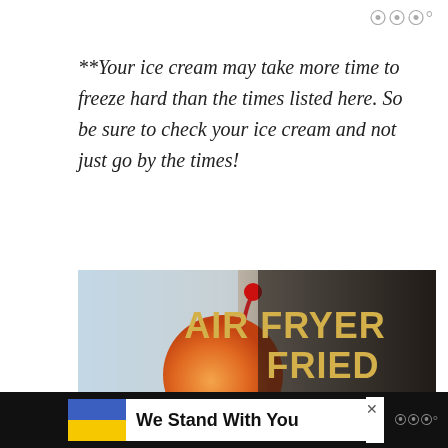WWW°
**Your ice cream may take more time to freeze hard than the times listed here. So be sure to check your ice cream and not just go by the times!
[Figure (photo): A promotional image showing fried ice cream with a cherry on top, with large gold bold text reading 'AIR FRYER FRIED ICE CREAM' on a dark background.]
We Stand With You